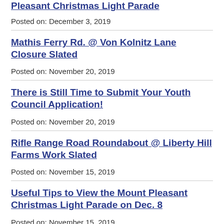Pleasant Christmas Light Parade
Posted on: December 3, 2019
Mathis Ferry Rd. @ Von Kolnitz Lane Closure Slated
Posted on: November 20, 2019
There is Still Time to Submit Your Youth Council Application!
Posted on: November 20, 2019
Rifle Range Road Roundabout @ Liberty Hill Farms Work Slated
Posted on: November 15, 2019
Useful Tips to View the Mount Pleasant Christmas Light Parade on Dec. 8
Posted on: November 15, 2019